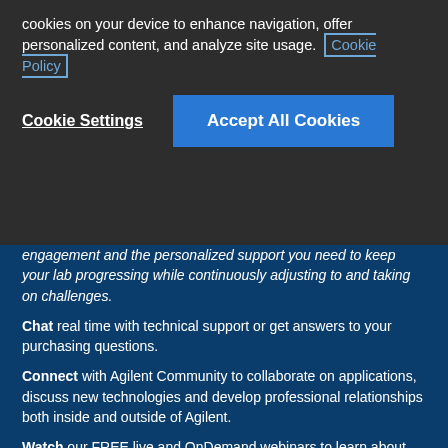cookies on your device to enhance navigation, offer personalized content, and analyze site usage. Cookie Policy
Cookie Settings
Accept All Cookies
engagement and the personalized support you need to keep your lab progressing while continuously adjusting to and taking on challenges.
Chat real time with technical support or get answers to your purchasing questions.
Connect with Agilent Community to collaborate on applications, discuss new technologies and develop professional relationships both inside and outside of Agilent.
Watch our FREE live and OnDemand webinars to learn about the latest applications and technologies and hear troubleshooting and maintenance tips.